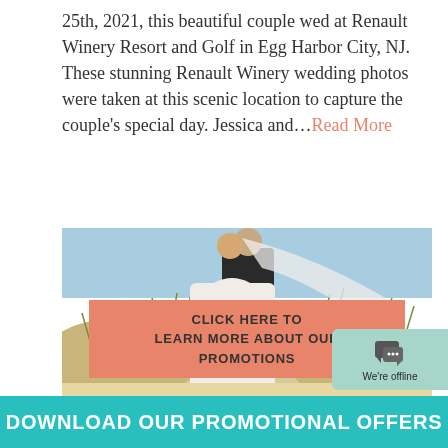25th, 2021, this beautiful couple wed at Renault Winery Resort and Golf in Egg Harbor City, NJ. These stunning Renault Winery wedding photos were taken at this scenic location to capture the couple's special day. Jessica and…Read More
[Figure (photo): Wedding couple photo at a beach/dune scenic location. Man in black suit, woman in white wedding dress with flowing veil. Sandy dunes with beach grass in background. Pink overlay banner reads: CLICK HERE TO LEARN MORE ABOUT OUR PROMOTIONS.]
CLICK HERE TO LEARN MORE ABOUT OUR PROMOTIONS
DOWNLOAD OUR PROMOTIONAL OFFERS